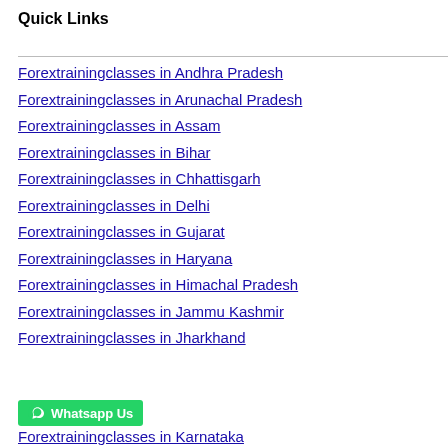Quick Links
Forextrainingclasses in Andhra Pradesh
Forextrainingclasses in Arunachal Pradesh
Forextrainingclasses in Assam
Forextrainingclasses in Bihar
Forextrainingclasses in Chhattisgarh
Forextrainingclasses in Delhi
Forextrainingclasses in Gujarat
Forextrainingclasses in Haryana
Forextrainingclasses in Himachal Pradesh
Forextrainingclasses in Jammu Kashmir
Forextrainingclasses in Jharkhand
Forextrainingclasses in Karnataka